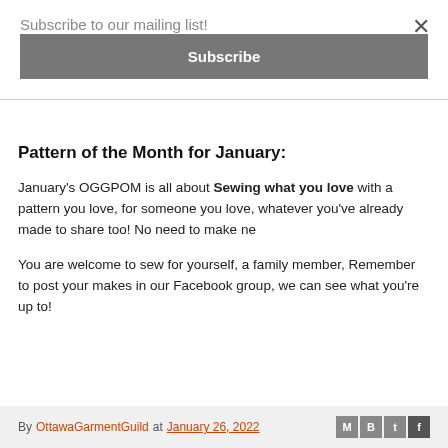Subscribe to our mailing list!
Subscribe
Pattern of the Month for January:
January's OGGPOM is all about Sewing what you love with a pattern you love, for someone you love, whatever you've already made to share too! No need to make ne
You are welcome to sew for yourself, a family member, Remember to post your makes in our Facebook group, we can see what you're up to!
By OttawaGarmentGuild at January 26, 2022